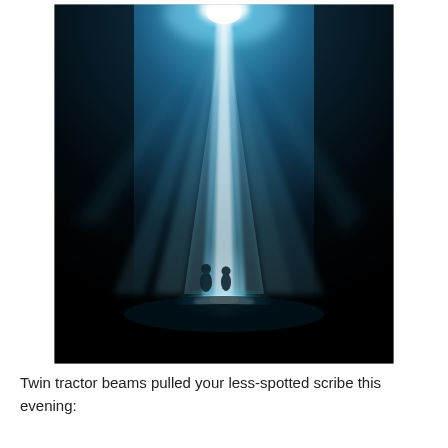[Figure (photo): A dramatic scene showing two silhouetted figures standing in a bright beam of light descending from above, surrounded by deep blue and black darkness, resembling a tractor beam or spotlight from above.]
Twin tractor beams pulled your less-spotted scribe this evening: